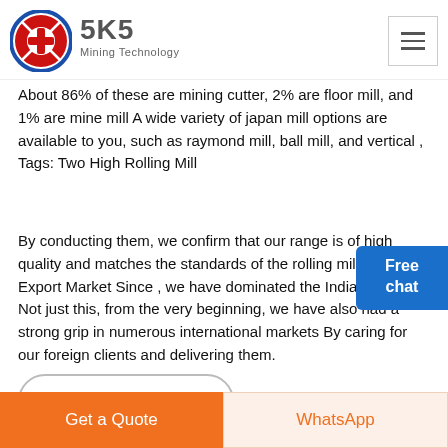SKS Mining Technology
About 86% of these are mining cutter, 2% are floor mill, and 1% are mine mill A wide variety of japan mill options are available to you, such as raymond mill, ball mill, and vertical , Tags: Two High Rolling Mill
By conducting them, we confirm that our range is of high quality and matches the standards of the rolling mill industry Export Market Since , we have dominated the Indian market Not just this, from the very beginning, we have also had a strong grip in numerous international markets By caring for our foreign clients and delivering them.
GET A QUOTE
Get a Quote   WhatsApp